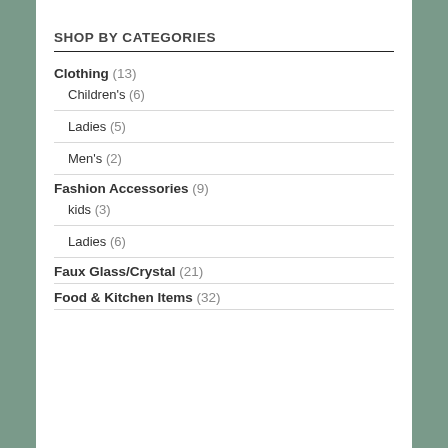SHOP BY CATEGORIES
Clothing (13)
Children's (6)
Ladies (5)
Men's (2)
Fashion Accessories (9)
kids (3)
Ladies (6)
Faux Glass/Crystal (21)
Food & Kitchen Items (32)